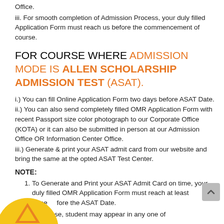Office.
iii. For smooth completion of Admission Process, your duly filled Application Form must reach us before the commencement of course.
FOR COURSE WHERE ADMISSION MODE IS ALLEN SCHOLARSHIP ADMISSION TEST (ASAT).
i.) You can fill Online Application Form two days before ASAT Date.
ii.) You can also send completely filled OMR Application Form with recent Passport size color photograph to our Corporate Office (KOTA) or it can also be submitted in person at our Admission Office OR Information Center Office.
iii.) Generate & print your ASAT admit card from our website and bring the same at the opted ASAT Test Center.
NOTE:
1. To Generate and Print your ASAT Admit Card on time, your duly filled OMR Application Form must reach at least three days before the ASAT Date.
2. In a phase, student may appear in any one of